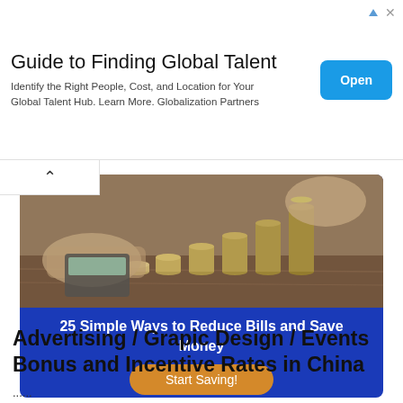[Figure (infographic): Advertisement banner for 'Guide to Finding Global Talent' with an Open button. Text: Identify the Right People, Cost, and Location for Your Global Talent Hub. Learn More. Globalization Partners.]
[Figure (photo): Photo of stacked coins growing in height with hands in the background, representing savings and financial growth.]
25 Simple Ways to Reduce Bills and Save Money
[Figure (infographic): Orange 'Start Saving!' button on blue background.]
Advertising / Grapic Design / Events Bonus and Incentive Rates in China
...